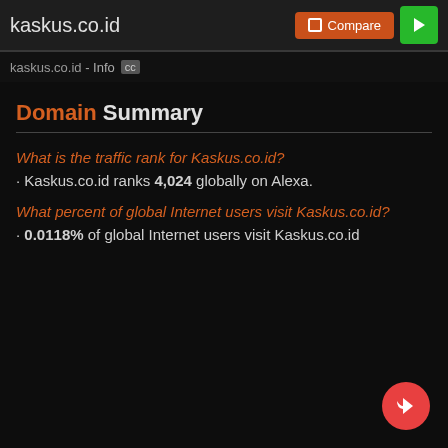kaskus.co.id
kaskus.co.id - Info
Domain Summary
What is the traffic rank for Kaskus.co.id?
Kaskus.co.id ranks 4,024 globally on Alexa.
What percent of global Internet users visit Kaskus.co.id?
0.0118% of global Internet users visit Kaskus.co.id